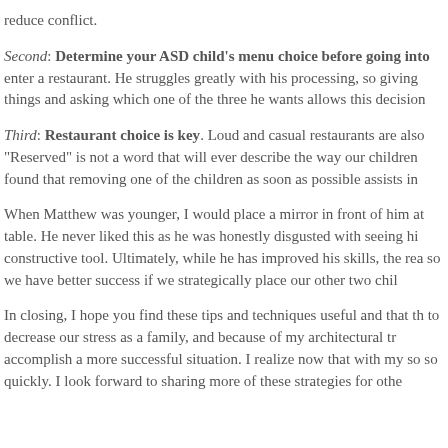reduce conflict.
Second: Determine your ASD child's menu choice before going into enter a restaurant. He struggles greatly with his processing, so giving things and asking which one of the three he wants allows this decision
Third: Restaurant choice is key. Loud and casual restaurants are also “Reserved” is not a word that will ever describe the way our children found that removing one of the children as soon as possible assists in
When Matthew was younger, I would place a mirror in front of him at table. He never liked this as he was honestly disgusted with seeing hi constructive tool. Ultimately, while he has improved his skills, the rea so we have better success if we strategically place our other two chil
In closing, I hope you find these tips and techniques useful and that th to decrease our stress as a family, and because of my architectural tr accomplish a more successful situation. I realize now that with my so so quickly. I look forward to sharing more of these strategies for othe